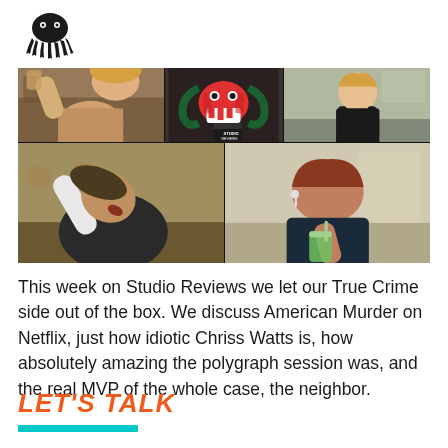[Figure (logo): Black octopus/squid logo silhouette]
[Figure (screenshot): Video call screenshot showing multiple participants on a virtual podcast/show. Top row: person holding a drink (left), decorative octopus logo graphic (center), person in black tank top (right). Bottom row: person tilting head back/drinking (left), person holding a green drink with earbuds (right).]
This week on Studio Reviews we let our True Crime side out of the box. We discuss American Murder on Netflix, just how idiotic Chriss Watts is, how absolutely amazing the polygraph session was, and the real MVP of the whole case, the neighbor.
LET'S TALK